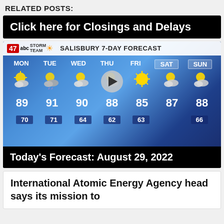RELATED POSTS:
Click here for Closings and Delays
[Figure (screenshot): Weather forecast screenshot from 47abc Storm Team showing Salisbury 7-Day Forecast with daily high and low temperatures for MON through SUN. Highs: 89, 91, 90, 88, 85, 87, 88. Lows: 70, 71, 64, 62, 63, 66.]
Today's Forecast: August 29, 2022
International Atomic Energy Agency head says its mission to